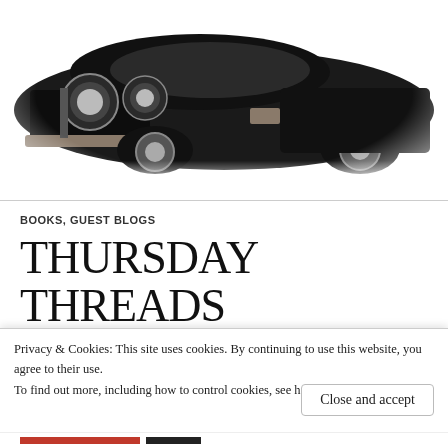[Figure (photo): Black vintage Ford Mustang car photographed from the front-left angle, with a faded/vignette white edge effect]
BOOKS, GUEST BLOGS
THURSDAY THREADS WELCOMES CATHY
Privacy & Cookies: This site uses cookies. By continuing to use this website, you agree to their use.
To find out more, including how to control cookies, see here: Cookie Policy
Close and accept